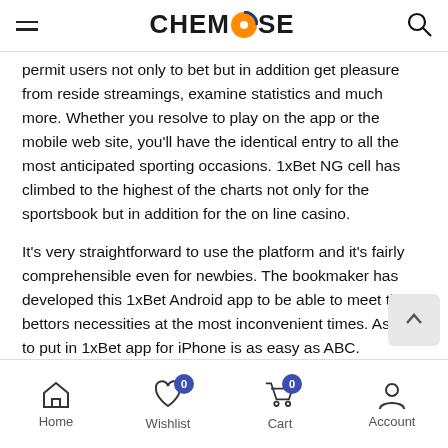CHEMROSE
permit users not only to bet but in addition get pleasure from reside streamings, examine statistics and much more. Whether you resolve to play on the app or the mobile web site, you'll have the identical entry to all the most anticipated sporting occasions. 1xBet NG cell has climbed to the highest of the charts not only for the sportsbook but in addition for the on line casino.
It's very straightforward to use the platform and it's fairly comprehensible even for newbies. The bookmaker has developed this 1xBet Android app to be able to meet the bettors necessities at the most inconvenient times. As see, to put in 1xBet app for iPhone is as easy as ABC.
Home  Wishlist  Cart  Account